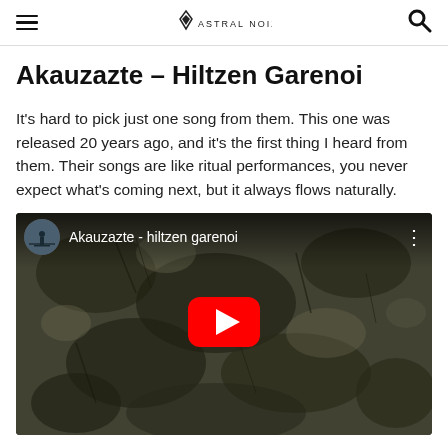Astral Noize
Akauzazte – Hiltzen Garenoi
It's hard to pick just one song from them. This one was released 20 years ago, and it's the first thing I heard from them. Their songs are like ritual performances, you never expect what's coming next, but it always flows naturally.
[Figure (screenshot): Embedded YouTube video thumbnail showing 'Akauzazte - hiltzen garenoi' with a mossy/textured background, a circular avatar of a person standing on a dock, and a red YouTube play button in the center.]